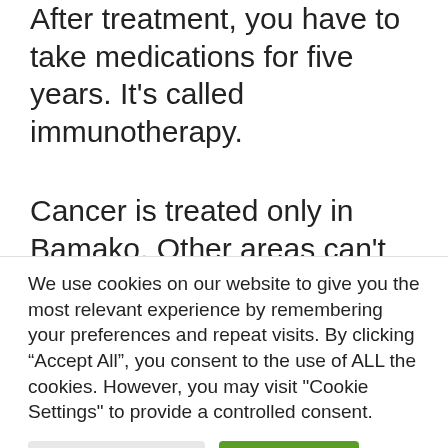After treatment, you have to take medications for five years. It's called immunotherapy.
Cancer is treated only in Bamako. Other areas can't access it. For treatment, the small period is six months, and can exceed six months. Leaving Kayes, the first region, to come to Bamako, to spend six months here. without your family. with another
We use cookies on our website to give you the most relevant experience by remembering your preferences and repeat visits. By clicking “Accept All”, you consent to the use of ALL the cookies. However, you may visit "Cookie Settings" to provide a controlled consent.